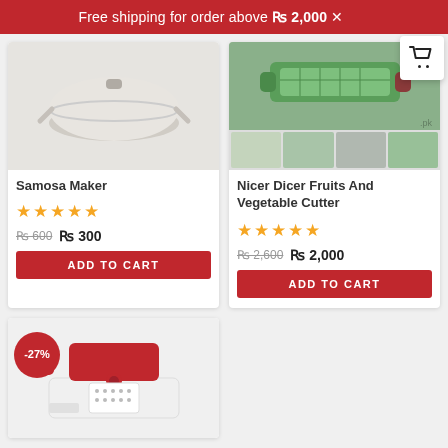Free shipping for order above ₨ 2,000
[Figure (photo): Samosa Maker product image - white round kitchen tool]
Samosa Maker
[Figure (other): 5 star rating for Samosa Maker]
₨ 600  ₨ 300
ADD TO CART
[Figure (photo): Nicer Dicer Fruits And Vegetable Cutter product images - green kitchen slicer with multiple thumbnails]
Nicer Dicer Fruits And Vegetable Cutter
[Figure (other): 5 star rating for Nicer Dicer]
₨ 2,600  ₨ 2,000
ADD TO CART
[Figure (photo): Third product - red and white kitchen chopper/dicer with -27% discount badge]